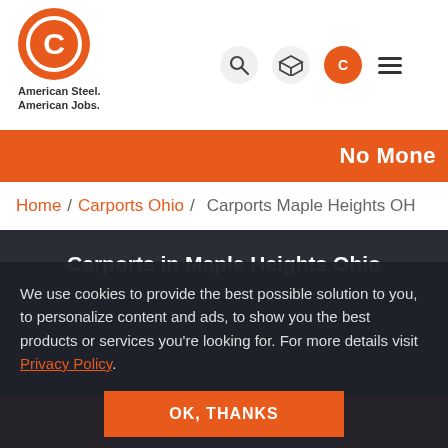[Figure (logo): American Steel Building Co. logo — orange circle with C letter inside white ring, tagline 'American Steel. American Jobs.' below]
No Mone
Home / Carports Ohio / Carports Maple Heights OH
Carports in Maple Heights Ohio
We use cookies to provide the best possible solution to you, to personalize content and ads, to show you the best products or services you're looking for. For more details visit Privacy Policy.
OK, THANKS
(888) 869-9206